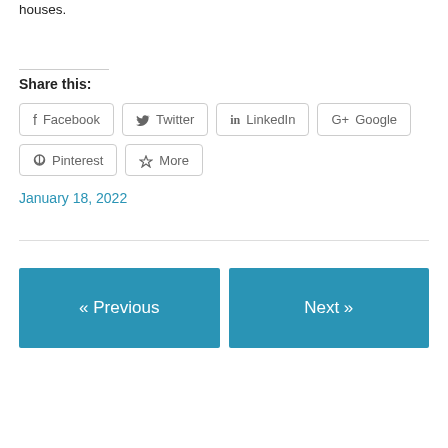houses.
Share this:
Facebook
Twitter
LinkedIn
Google
Pinterest
More
January 18, 2022
« Previous
Next »